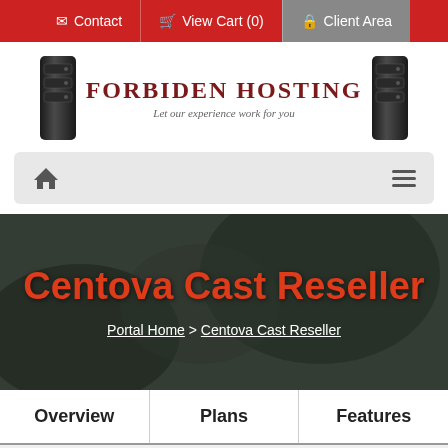Contact | View Cart (0) | Client Area
[Figure (logo): Forbiden Hosting logo with two black server towers and text 'FORBIDEN HOSTING - Let our experience work for you']
[Figure (screenshot): Navigation bar with home icon on left and hamburger menu icon on right]
Centova Cast Reseller
Portal Home > Centova Cast Reseller
Overview  Plans  Features